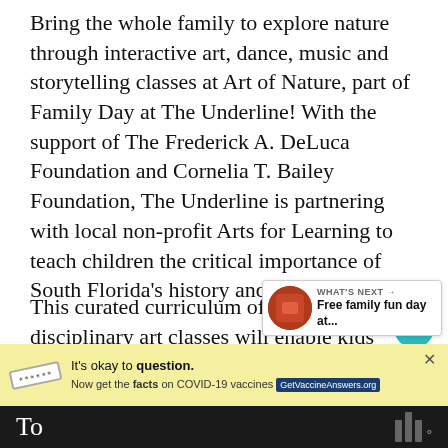Bring the whole family to explore nature through interactive art, dance, music and storytelling classes at Art of Nature, part of Family Day at The Underline! With the support of The Frederick A. DeLuca Foundation and Cornelia T. Bailey Foundation, The Underline is partnering with local non-profit Arts for Learning to teach children the critical importance of South Florida's history and ecosystem.
This curated curriculum of multi-disciplinary art classes will enable kids' minds to explore Miami's cultures, ecosystems, nature, science, and sustainability with the guidance of professional artists! There are two programs and two class time slots each Saturday to choose from, taking both of the 30-minute activities from 2-3 p.m. or 3-4 p.m.
[Figure (screenshot): UI overlay: teal heart icon button and grey share icon button on the right side of the page]
[Figure (infographic): What's Next card with thumbnail image and text 'WHAT'S NEXT → Free family fun day at...']
[Figure (infographic): Advertisement banner: yellow background, 'It's okay to question.' text, 'Now get the facts on COVID-19 vaccines GetVaccineAnswers.org', with a stamp-style logo and close X button]
To